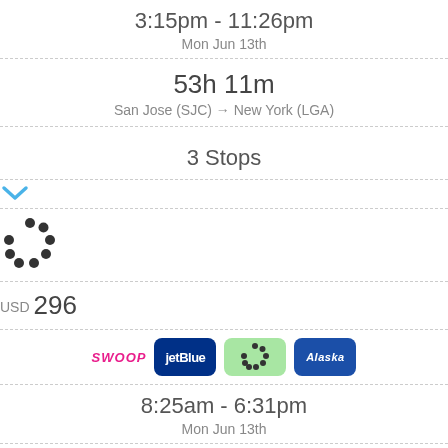3:15pm - 11:26pm
Mon Jun 13th
53h 11m
San Jose (SJC) → New York (LGA)
3 Stops
[Figure (other): Blue downward chevron arrow icon]
[Figure (other): Circular spinner/loading indicator with dark dots]
USD 296
[Figure (other): Airline logos: Swoop, JetBlue, spinner icon on green background, Alaska]
8:25am - 6:31pm
Mon Jun 13th
55h 6m